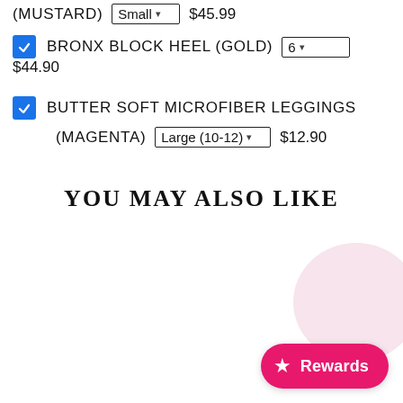(MUSTARD) Small $45.99
BRONX BLOCK HEEL (GOLD) 6 $44.90
BUTTER SOFT MICROFIBER LEGGINGS (MAGENTA) Large (10-12) $12.90
YOU MAY ALSO LIKE
[Figure (other): Partial product image visible in bottom right corner]
Rewards